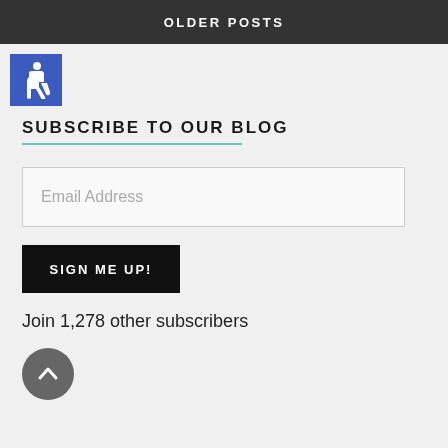OLDER POSTS
[Figure (illustration): Blue square with white wheelchair accessibility icon]
SUBSCRIBE TO OUR BLOG
Email Address
SIGN ME UP!
Join 1,278 other subscribers
[Figure (illustration): Dark grey circular scroll-to-top button with upward chevron arrow]